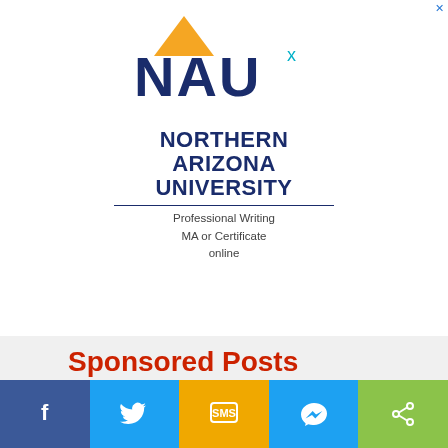[Figure (logo): Northern Arizona University (NAU) logo with mountain/triangle icon and text NORTHERN ARIZONA UNIVERSITY, Professional Writing MA or Certificate online]
Sponsored Posts
Scaling Video Production with Content